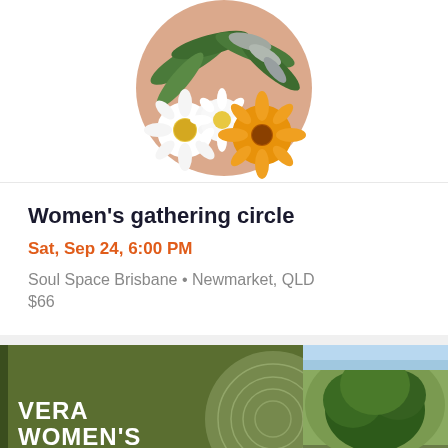[Figure (photo): Floral arrangement with white daisies, yellow daisy, green ferns and foliage on a peach circular background]
Women's gathering circle
Sat, Sep 24, 6:00 PM
Soul Space Brisbane • Newmarket, QLD
$66
[Figure (photo): Dark olive green banner for Vera Women's Wisdom Summit with topographic circle design and tree photo on right]